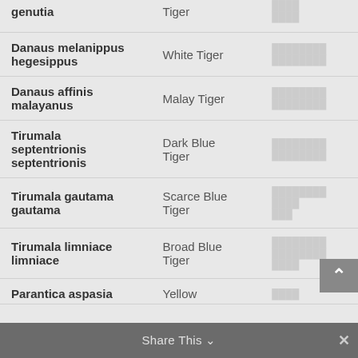| Scientific Name | Common Name | Thai Name |
| --- | --- | --- |
| genutia | Tiger | ████ |
| Danaus melanippus hegesippus | White Tiger | ████████████ |
| Danaus affinis malayanus | Malay Tiger | ████████████ |
| Tirumala septentrionis septentrionis | Dark Blue Tiger | ████████████ |
| Tirumala gautama gautama | Scarce Blue Tiger | ████████████ |
| Tirumala limniace limniace | Broad Blue Tiger | ████████████ |
| Parantica aspasia | Yellow | ████ |
Share This